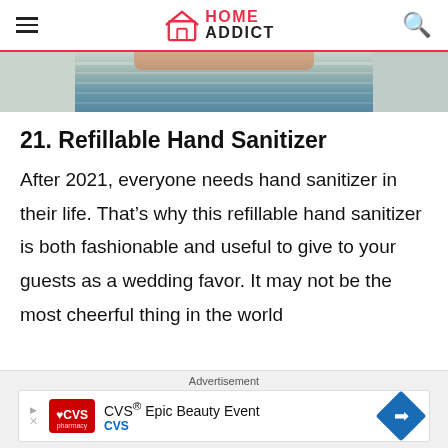HOME ADDICT
[Figure (photo): Partial photo of a person wearing a striped/patterned outfit, cropped to show neck and shoulder area]
21. Refillable Hand Sanitizer
After 2021, everyone needs hand sanitizer in their life. That's why this refillable hand sanitizer is both fashionable and useful to give to your guests as a wedding favor. It may not be the most cheerful thing in the world
Advertisement
CVS® Epic Beauty Event CVS